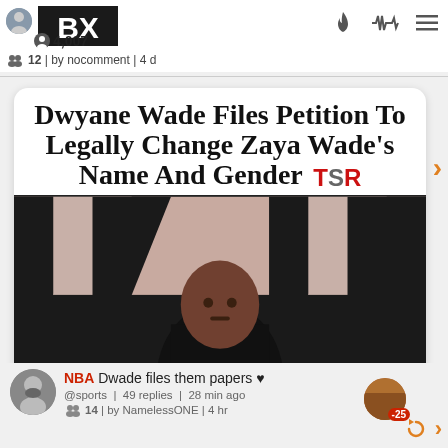BX | 4,007 | 12 | by nocomment | 4 d
[Figure (screenshot): News article card with headline: Dwyane Wade Files Petition To Legally Change Zaya Wade's Name And Gender (TSR logo), with a photo of a man at an event with M-shaped backdrop]
NBA Dwade files them papers ♥
@sports | 49 replies | 28 min ago
14 | by NamelessONE | 4 hr